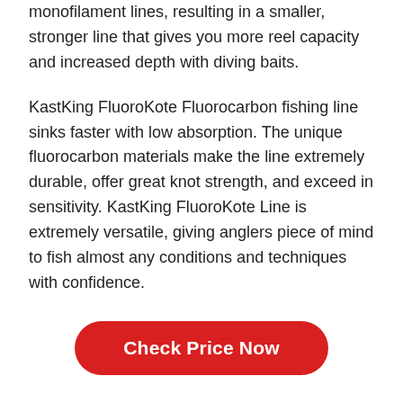monofilament lines, resulting in a smaller, stronger line that gives you more reel capacity and increased depth with diving baits.
KastKing FluoroKote Fluorocarbon fishing line sinks faster with low absorption. The unique fluorocarbon materials make the line extremely durable, offer great knot strength, and exceed in sensitivity. KastKing FluoroKote Line is extremely versatile, giving anglers piece of mind to fish almost any conditions and techniques with confidence.
[Figure (other): Red 'Check Price Now' button]
04 Dissifun Alloy M Baitcasting